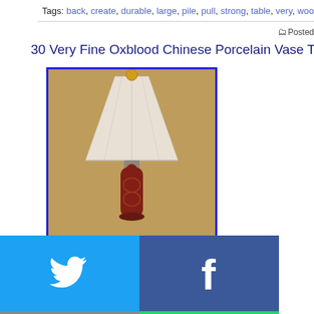Tags: back, create, durable, large, pile, pull, strong, table, very, wood, woo...
Posted
30 Very Fine Oxblood Chinese Porcelain Vase Table Lamp-
[Figure (photo): Photo of a table lamp with a large white trapezoid shade and an oxblood Chinese porcelain vase base, with a gold finial at the top. The lamp is photographed against a tan/gold background. The image has a blue border.]
[Figure (infographic): Social sharing button grid with 6 buttons: Twitter (light blue, bird icon), Facebook (dark blue, f icon), Email (gray, envelope icon), WhatsApp (green, phone icon), SMS (blue, SMS bubble icon), and another green share icon button.]